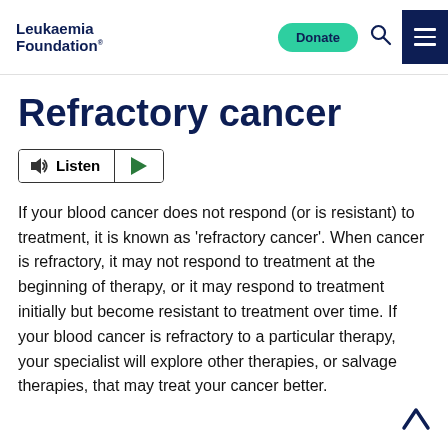Leukaemia Foundation
Refractory cancer
[Figure (other): Listen audio widget with speaker icon, Listen label, and green play button]
If your blood cancer does not respond (or is resistant) to treatment, it is known as ‘refractory cancer’. When cancer is refractory, it may not respond to treatment at the beginning of therapy, or it may respond to treatment initially but become resistant to treatment over time. If your blood cancer is refractory to a particular therapy, your specialist will explore other therapies, or salvage therapies, that may treat your cancer better.